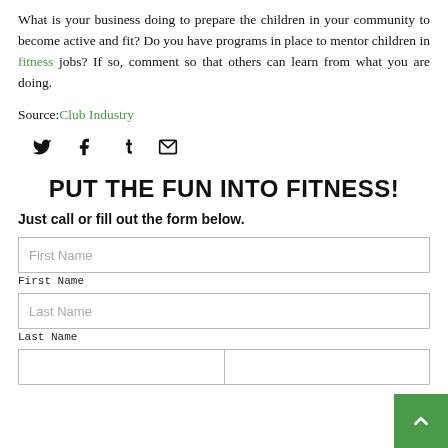What is your business doing to prepare the children in your community to become active and fit? Do you have programs in place to mentor children in fitness jobs? If so, comment so that others can learn from what you are doing.
Source: Club Industry
[Figure (infographic): Social media share icons: Twitter (bird), Facebook (f), Tumblr (t), Email (envelope)]
PUT THE FUN INTO FITNESS!
Just call or fill out the form below.
First Name (form field)
Last Name (form field)